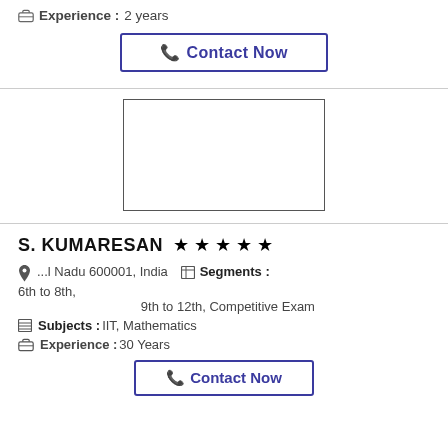Experience :2 years
Contact Now
[Figure (other): Advertisement placeholder box]
S. KUMARESAN
...l Nadu 600001, India   Segments : 6th to 8th, 9th to 12th, Competitive Exam
Subjects : IIT, Mathematics
Experience :30 Years
Contact Now